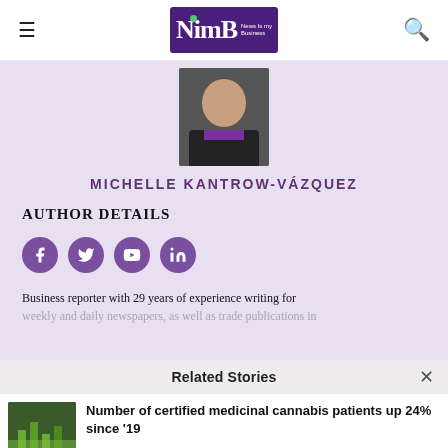NimB - News Is My Business
[Figure (photo): Author headshot of Michelle Kantrow-Vázquez, a woman in a black jacket and purple top]
MICHELLE KANTROW-VÁZQUEZ
AUTHOR DETAILS
[Figure (infographic): Social media icons: Facebook, Twitter, YouTube, LinkedIn in purple circles]
Business reporter with 29 years of experience writing for weekly and daily newspapers, as well as trade publications in
Related Stories
Number of certified medicinal cannabis patients up 24% since '19